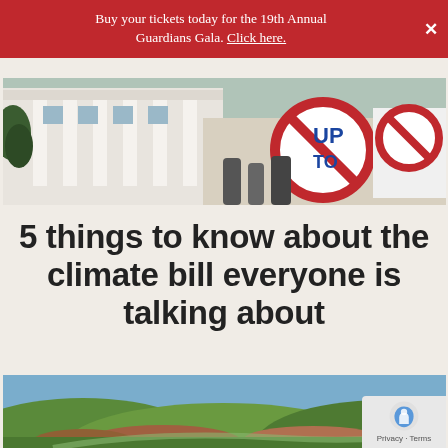Buy your tickets today for the 19th Annual Guardians Gala. Click here.
[Figure (photo): Protest photo in front of a white building (White House), showing protesters holding a sign with a no symbol and text 'STAND UP TO BIG...']
5 things to know about the climate bill everyone is talking about
[Figure (photo): Aerial landscape photo showing green rolling hills, valleys and terrain, likely depicting pipeline or energy infrastructure area.]